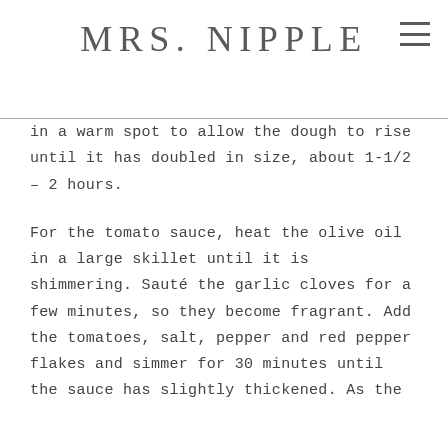MRS. NIPPLE
in a warm spot to allow the dough to rise until it has doubled in size, about 1-1/2 – 2 hours.
For the tomato sauce, heat the olive oil in a large skillet until it is shimmering. Sauté the garlic cloves for a few minutes, so they become fragrant. Add the tomatoes, salt, pepper and red pepper flakes and simmer for 30 minutes until the sauce has slightly thickened. As the